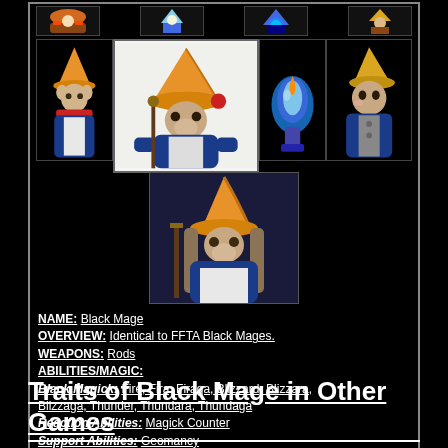[Figure (illustration): Grid of Black Mage character illustrations from Final Fantasy games - showing various sprite and artwork versions of Black Mage characters with orange pointed hats and blue robes]
NAME: Black Mage
OVERVIEW: Identical to FFTA Black Mages.
WEAPONS: Rods
ABILITIES/MAGIC:
Black Magick: Fire, Fira, Firaga, Blizzard, Blizzara, Blizzaga, Thunder, Thundara, Thundaga
Reaction Abilities: Magick Counter
Support Abilities: Geomancy
Traits of Black Mage in Other Games
FF6: All characters can learn some sort of Black Magick...